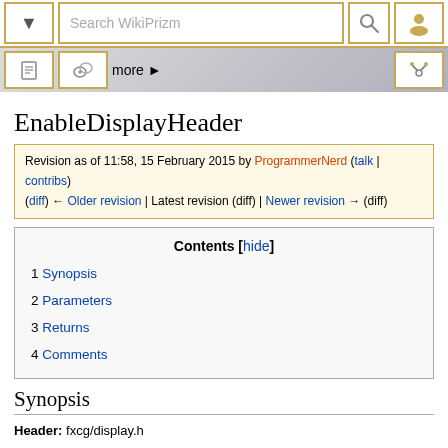Search WikiPrizm
EnableDisplayHeader
Revision as of 11:58, 15 February 2015 by ProgrammerNerd (talk | contribs)
(diff) ← Older revision | Latest revision (diff) | Newer revision → (diff)
| Contents [hide] |
| --- |
| 1 Synopsis |
| 2 Parameters |
| 3 Returns |
| 4 Comments |
Synopsis
Header: fxcg/display.h
Syscall index: 0x1D7F
Function signature: void EnableDisplayHeader(int action, int value)
The function of this syscall is still unknown.